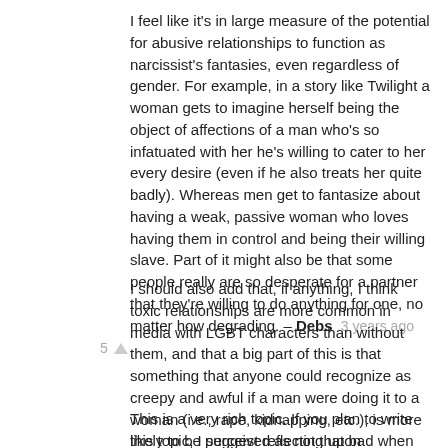I feel like it's in large measure of the potential for abusive relationships to function as narcissist's fantasies, even regardless of gender. For example, in a story like Twilight a woman gets to imagine herself being the object of affections of a man who's so infatuated with her he's willing to cater to her every desire (even if he also treats her quite badly). Whereas men get to fantasize about having a weak, passive woman who loves having them in control and being their willing slave. Part of it might also be that some people really are so desperate for a partner that they're willing to do anything for one, no matter how degrading. – Debs 3 years ago
I should also add that, if anything, I think toxic relationships are more common in media with LGBT characters than without them, and that a big part of this is that something that anyone could recognize as creepy and awful if a man were doing it to a woman (i.e., rape, kidnapping, etc.), is more likely to be perceived as not that bad when it's a man doing it to another man, or a woman doing it to another woman. – Debs 3 years ago
This is a very rich topic. If you plan to write this topic, I suggest reflecting upon subtopics. In my